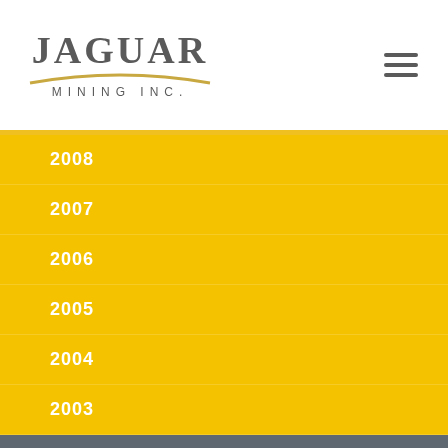[Figure (logo): Jaguar Mining Inc. logo with arc swoosh graphic]
2008
2007
2006
2005
2004
2003
SEDAR
ESTMA